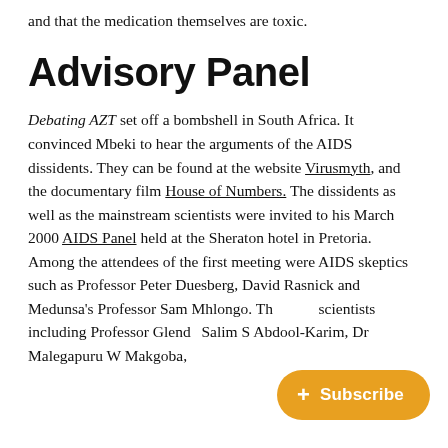and that the medication themselves are toxic.
Advisory Panel
Debating AZT set off a bombshell in South Africa. It convinced Mbeki to hear the arguments of the AIDS dissidents. They can be found at the website Virusmyth, and the documentary film House of Numbers. The dissidents as well as the mainstream scientists were invited to his March 2000 AIDS Panel held at the Sheraton hotel in Pretoria. Among the attendees of the first meeting were AIDS skeptics such as Professor Peter Duesberg, David Rasnick and Medunsa's Professor Sam Mhlongo. Th… scientists including Professor Glend… Salim S Abdool-Karim, Dr Malegapuru W Makgoba, and the director of NWI Dr. An… Mo…